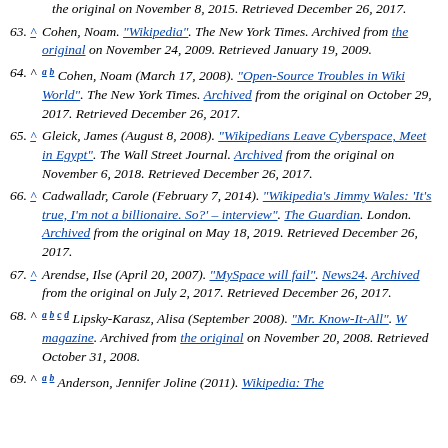(continuation) the original on November 8, 2015. Retrieved December 26, 2017.
63. ^ Cohen, Noam. "Wikipedia". The New York Times. Archived from the original on November 24, 2009. Retrieved January 19, 2009.
64. ^ a b Cohen, Noam (March 17, 2008). "Open-Source Troubles in Wiki World". The New York Times. Archived from the original on October 29, 2017. Retrieved December 26, 2017.
65. ^ Gleick, James (August 8, 2008). "Wikipedians Leave Cyberspace, Meet in Egypt". The Wall Street Journal. Archived from the original on November 6, 2018. Retrieved December 26, 2017.
66. ^ Cadwalladr, Carole (February 7, 2014). "Wikipedia's Jimmy Wales: 'It's true, I'm not a billionaire. So?' – interview". The Guardian. London. Archived from the original on May 18, 2019. Retrieved December 26, 2017.
67. ^ Arendse, Ilse (April 20, 2007). "MySpace will fail". News24. Archived from the original on July 2, 2017. Retrieved December 26, 2017.
68. ^ a b c d Lipsky-Karasz, Alisa (September 2008). "Mr. Know-It-All". W magazine. Archived from the original on November 20, 2008. Retrieved October 31, 2008.
69. ^ a b Anderson, Jennifer Joline (2011). Wikipedia: The